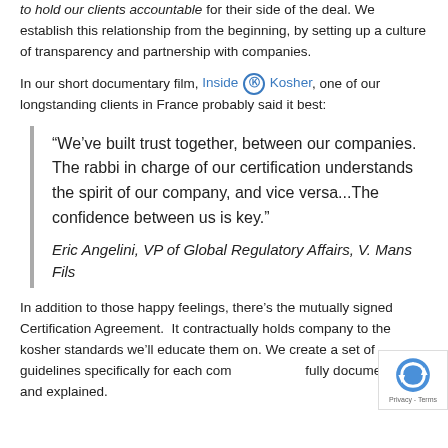to hold our clients accountable for their side of the deal. We establish this relationship from the beginning, by setting up a culture of transparency and partnership with companies.
In our short documentary film, Inside K Kosher, one of our longstanding clients in France probably said it best:
“We’ve built trust together, between our companies.  The rabbi in charge of our certification understands the spirit of our company, and vice versa...The confidence between us is key.”

Eric Angelini, VP of Global Regulatory Affairs, V. Mans Fils
In addition to those happy feelings, there’s the mutually signed Certification Agreement.  It contractually holds company to the kosher standards we’ll educate them on. We create a set of guidelines specifically for each company, fully documented and explained.